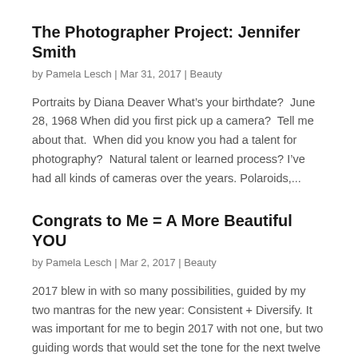The Photographer Project: Jennifer Smith
by Pamela Lesch | Mar 31, 2017 | Beauty
Portraits by Diana Deaver What’s your birthdate?  June 28, 1968 When did you first pick up a camera?  Tell me about that.  When did you know you had a talent for photography?  Natural talent or learned process? I’ve had all kinds of cameras over the years. Polaroids,...
Congrats to Me = A More Beautiful YOU
by Pamela Lesch | Mar 2, 2017 | Beauty
2017 blew in with so many possibilities, guided by my two mantras for the new year: Consistent + Diversify. It was important for me to begin 2017 with not one, but two guiding words that would set the tone for the next twelve months.  My work is to fill these days...